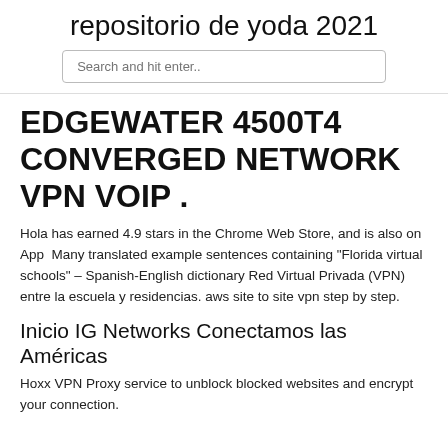repositorio de yoda 2021
Search and hit enter..
EDGEWATER 4500T4 CONVERGED NETWORK VPN VOIP .
Hola has earned 4.9 stars in the Chrome Web Store, and is also on App  Many translated example sentences containing "Florida virtual schools" – Spanish-English dictionary Red Virtual Privada (VPN) entre la escuela y residencias. aws site to site vpn step by step.
Inicio IG Networks Conectamos las Américas
Hoxx VPN Proxy service to unblock blocked websites and encrypt your connection.